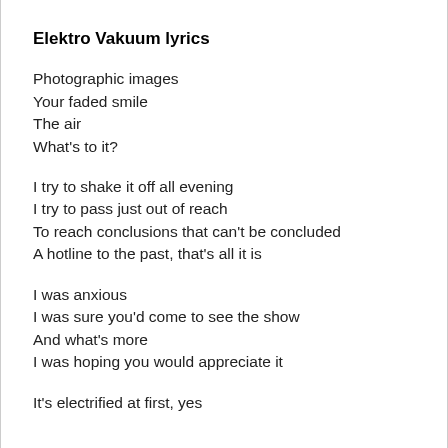Elektro Vakuum lyrics
Photographic images
Your faded smile
The air
What's to it?
I try to shake it off all evening
I try to pass just out of reach
To reach conclusions that can't be concluded
A hotline to the past, that's all it is
I was anxious
I was sure you'd come to see the show
And what's more
I was hoping you would appreciate it
It's electrified at first, yes